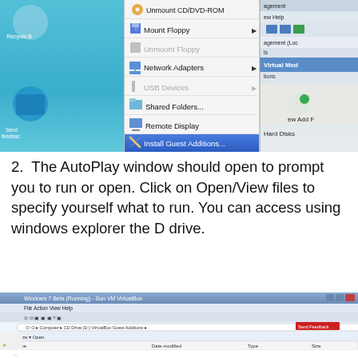[Figure (screenshot): Screenshot of VirtualBox context menu showing options: Unmount CD/DVD-ROM, Mount Floppy (with arrow), Unmount Floppy (greyed), Network Adapters (with arrow), USB Devices (greyed, with arrow), Shared Folders..., Remote Display, and Install Guest Additions... (highlighted in blue). The right side shows part of a Virtual Media Manager window.]
2. The AutoPlay window should open to prompt you to run or open. Click on Open/View files to specify yourself what to run. You can access using windows explorer the D drive.
[Figure (screenshot): Screenshot of Windows Explorer showing CD Drive (D:) VirtualBox Guest Additions contents, with file columns: Name, Date modified, Type, Size. A Favorites section is visible on the left.]